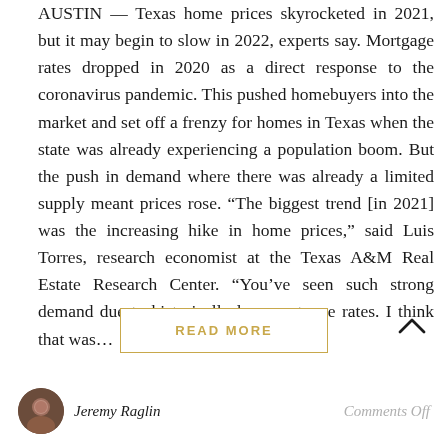AUSTIN — Texas home prices skyrocketed in 2021, but it may begin to slow in 2022, experts say. Mortgage rates dropped in 2020 as a direct response to the coronavirus pandemic. This pushed homebuyers into the market and set off a frenzy for homes in Texas when the state was already experiencing a population boom. But the push in demand where there was already a limited supply meant prices rose. “The biggest trend [in 2021] was the increasing hike in home prices,” said Luis Torres, research economist at the Texas A&M Real Estate Research Center. “You’ve seen such strong demand due to historically low mortgage rates. I think that was...
READ MORE
Jeremy Raglin
Comments Off